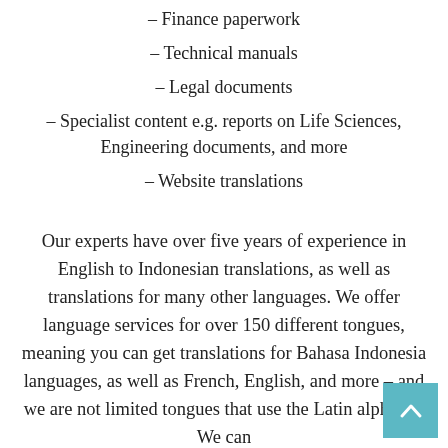– Finance paperwork
– Technical manuals
– Legal documents
– Specialist content e.g. reports on Life Sciences, Engineering documents, and more
– Website translations
Our experts have over five years of experience in English to Indonesian translations, as well as translations for many other languages. We offer language services for over 150 different tongues, meaning you can get translations for Bahasa Indonesia languages, as well as French, English, and more – and we are not limited tongues that use the Latin alphabet. We can